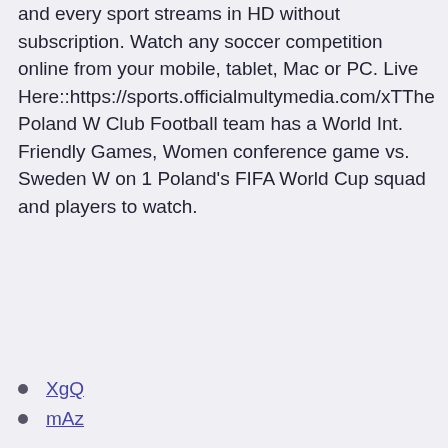and every sport streams in HD without subscription. Watch any soccer competition online from your mobile, tablet, Mac or PC. Live Here::https://sports.officialmultymedia.com/xTThe Poland W Club Football team has a World Int. Friendly Games, Women conference game vs. Sweden W on 1 Poland's FIFA World Cup squad and players to watch.
XgQ
mAz